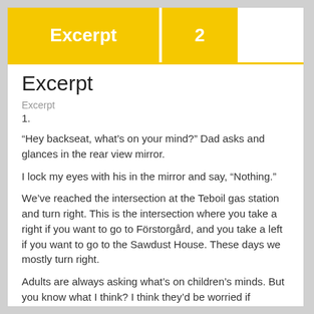Excerpt 2
Excerpt
Excerpt
1.
“Hey backseat, what’s on your mind?” Dad asks and glances in the rear view mirror.
I lock my eyes with his in the mirror and say, “Nothing.”
We’ve reached the intersection at the Teboil gas station and turn right. This is the intersection where you take a right if you want to go to Förstorgård, and you take a left if you want to go to the Sawdust House. These days we mostly turn right.
Adults are always asking what’s on children’s minds. But you know what I think? I think they’d be worried if children answered them. Let me give you an example. Let’s say